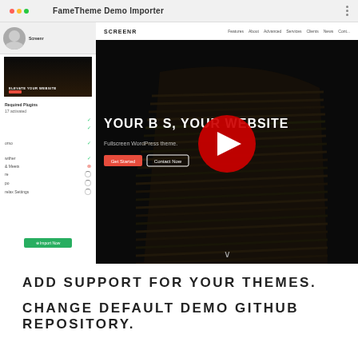[Figure (screenshot): Screenshot of a YouTube video titled 'FameTheme Demo Importer' showing a WordPress theme demo site (Screenr theme) with a sidebar plugin installer panel and a fullscreen hero section with a YouTube play button overlay. Text reads 'YOUR BUSINESS, YOUR WEBSITE' with a Fullscreen WordPress theme.]
ADD SUPPORT FOR YOUR THEMES.
CHANGE DEFAULT DEMO GITHUB REPOSITORY.